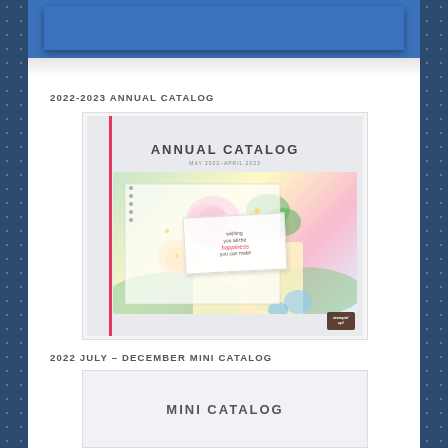[Figure (illustration): Blue dotted background banner at top of page — Stampin' Up newsletter/blog header with blue rectangle]
2022-2023 ANNUAL CATALOG
[Figure (illustration): Cover image of the Stampin' Up 2022-2023 Annual Catalog showing floral watercolor artwork with pink roses, greenery, yellow accents, and a greeting card, with Stampin' Up logo in bottom right, text reads ANNUAL CATALOG MAY 2022-APRIL 2023]
2022 JULY – DECEMBER MINI CATALOG
[Figure (illustration): Partial view of the Stampin' Up 2022 July-December Mini Catalog cover showing the text MINI CATALOG]